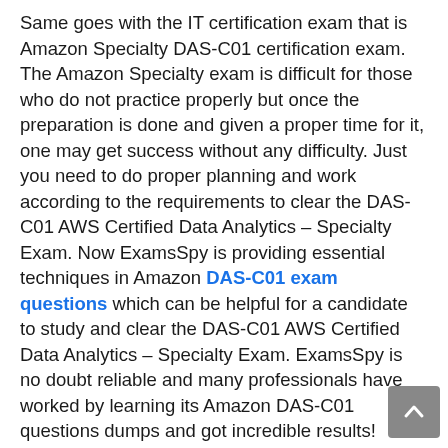Same goes with the IT certification exam that is Amazon Specialty DAS-C01 certification exam. The Amazon Specialty exam is difficult for those who do not practice properly but once the preparation is done and given a proper time for it, one may get success without any difficulty. Just you need to do proper planning and work according to the requirements to clear the DAS-C01 AWS Certified Data Analytics – Specialty Exam. Now ExamsSpy is providing essential techniques in Amazon DAS-C01 exam questions which can be helpful for a candidate to study and clear the DAS-C01 AWS Certified Data Analytics – Specialty Exam. ExamsSpy is no doubt reliable and many professionals have worked by learning its Amazon DAS-C01 questions dumps and got incredible results!